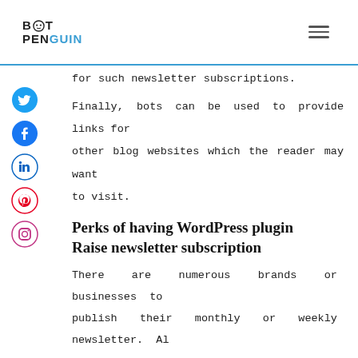BOT PENGUIN
for such newsletter subscriptions.
Finally, bots can be used to provide links for other blog websites which the reader may want to visit.
Perks of having WordPress plugin Raise newsletter subscription
There are numerous brands or businesses to publish their monthly or weekly newsletter. Al